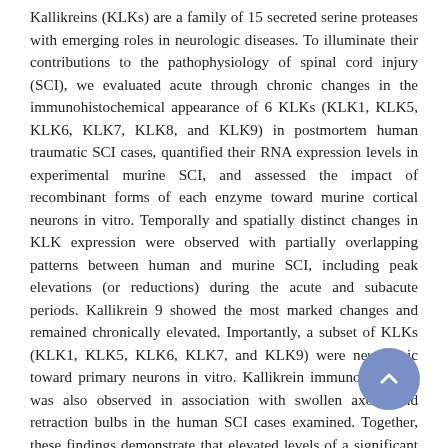Kallikreins (KLKs) are a family of 15 secreted serine proteases with emerging roles in neurologic diseases. To illuminate their contributions to the pathophysiology of spinal cord injury (SCI), we evaluated acute through chronic changes in the immunohistochemical appearance of 6 KLKs (KLK1, KLK5, KLK6, KLK7, KLK8, and KLK9) in postmortem human traumatic SCI cases, quantified their RNA expression levels in experimental murine SCI, and assessed the impact of recombinant forms of each enzyme toward murine cortical neurons in vitro. Temporally and spatially distinct changes in KLK expression were observed with partially overlapping patterns between human and murine SCI, including peak elevations (or reductions) during the acute and subacute periods. Kallikrein 9 showed the most marked changes and remained chronically elevated. Importantly, a subset of KLKs (KLK1, KLK5, KLK6, KLK7, and KLK9) were neurotoxic toward primary neurons in vitro. Kallikrein immunoreactivity was also observed in association with swollen axons and retraction bulbs in the human SCI cases examined. Together, these findings demonstrate that elevated levels of a significant subset of KLKs are positioned to contribute to neurodegenerative changes in cases of CNS trauma and disease and, therefore, represent new potential targets for the development of neuroprotective strategies.